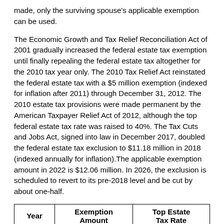made, only the surviving spouse's applicable exemption can be used.
The Economic Growth and Tax Relief Reconciliation Act of 2001 gradually increased the federal estate tax exemption until finally repealing the federal estate tax altogether for the 2010 tax year only. The 2010 Tax Relief Act reinstated the federal estate tax with a $5 million exemption (indexed for inflation after 2011) through December 31, 2012. The 2010 estate tax provisions were made permanent by the American Taxpayer Relief Act of 2012, although the top federal estate tax rate was raised to 40%. The Tax Cuts and Jobs Act, signed into law in December 2017, doubled the federal estate tax exclusion to $11.18 million in 2018 (indexed annually for inflation).The applicable exemption amount in 2022 is $12.06 million. In 2026, the exclusion is scheduled to revert to its pre-2018 level and be cut by about one-half.
| Year | Exemption Amount | Top Estate Tax Rate |
| --- | --- | --- |